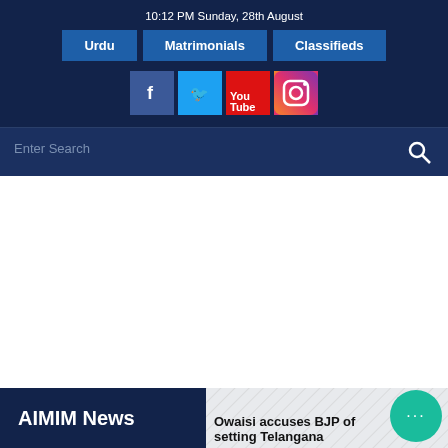10:12 PM Sunday, 28th August
Urdu
Matrimonials
Classifieds
[Figure (other): Social media icons: Facebook, Twitter, YouTube, Instagram]
[Figure (other): Search bar with search icon button]
AIMIM News
Owaisi accuses BJP of setting Telangana...